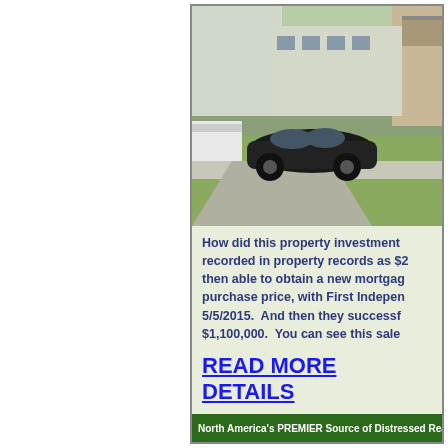[Figure (photo): Exterior photo of a residential property with a black car parked in the driveway, green lawn, sidewalk, and apartment building in background.]
How did this property investment recorded in property records as $2 then able to obtain a new mortgage purchase price, with First Independen 5/5/2015.  And then they successfu $1,100,000.  You can see this sale
READ MORE DETAILS
North America's PREMIER Source of Distressed Real E